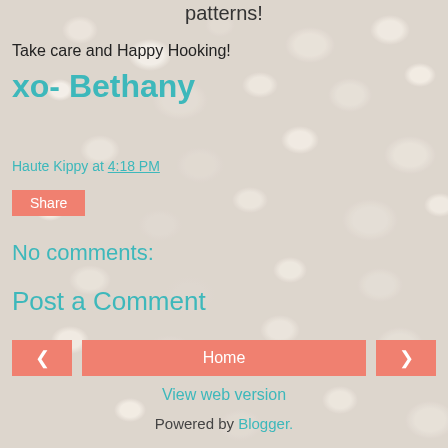patterns!
Take care and Happy Hooking!
xo- Bethany
Haute Kippy at 4:18 PM
Share
No comments:
Post a Comment
Home
View web version
Powered by Blogger.